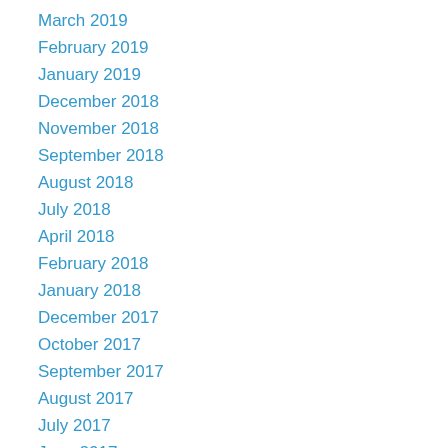March 2019
February 2019
January 2019
December 2018
November 2018
September 2018
August 2018
July 2018
April 2018
February 2018
January 2018
December 2017
October 2017
September 2017
August 2017
July 2017
June 2017
May 2017
March 2017
February 2017